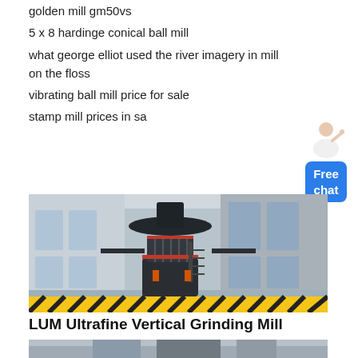golden mill gm50vs
5 x 8 hardinge conical ball mill
what george elliot used the river imagery in mill on the floss
vibrating ball mill price for sale
stamp mill prices in sa
[Figure (photo): Large industrial LUM Ultrafine Vertical Grinding Mill machine inside a factory/warehouse setting]
LUM Ultrafine Vertical Grinding Mill
[Figure (photo): Bottom portion of another industrial mill or machinery, partially visible]